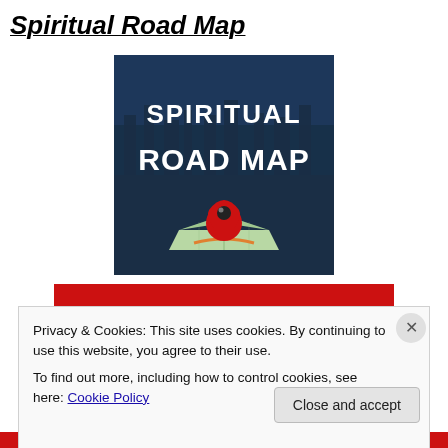Spiritual Road Map
[Figure (illustration): Book or app cover image showing text 'SPIRITUAL ROAD MAP' in white letters on a dark blue/teal background with a city skyline, featuring a large red location pin marker resting on a folded map.]
[Figure (photo): Partial image showing a red background, partially obscured by the cookie consent banner.]
Privacy & Cookies: This site uses cookies. By continuing to use this website, you agree to their use.
To find out more, including how to control cookies, see here: Cookie Policy
Close and accept